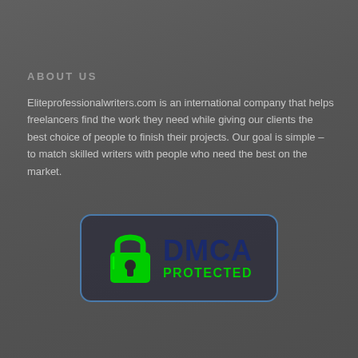ABOUT US
Eliteprofessionalwriters.com is an international company that helps freelancers find the work they need while giving our clients the best choice of people to finish their projects. Our goal is simple – to match skilled writers with people who need the best on the market.
[Figure (other): DMCA Protected badge with green padlock icon and dark blue DMCA PROTECTED text on a dark rounded rectangle with blue border]